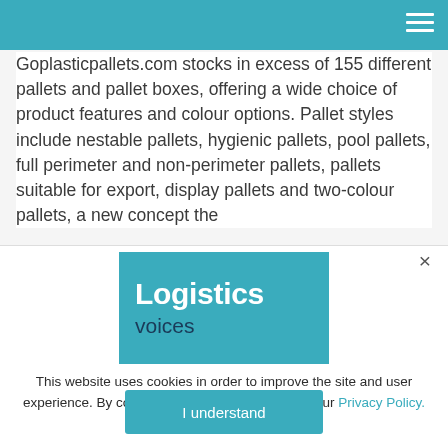Goplasticpallets.com stocks in excess of 155 different pallets and pallet boxes, offering a wide choice of product features and colour options. Pallet styles include nestable pallets, hygienic pallets, pool pallets, full perimeter and non-perimeter pallets, pallets suitable for export, display pallets and two-colour pallets, a new concept the
[Figure (logo): Logistics Voices logo — teal background rectangle with white bold text 'Logistics' and dark blue text 'voices' below]
This website uses cookies in order to improve the site and user experience. By continuing to use it, you agree to our Privacy Policy.
I understand